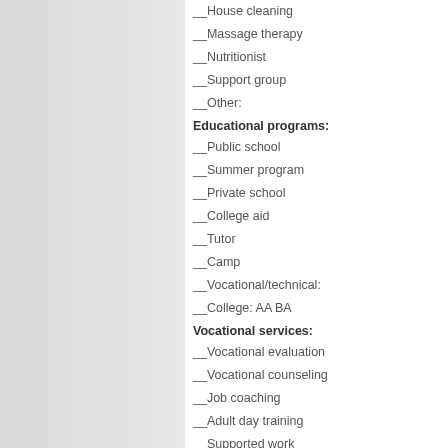__House cleaning
__Massage therapy
__Nutritionist
__Support group
__Other:
Educational programs:
__Public school
__Summer program
__Private school
__College aid
__Tutor
__Camp
__Vocational/technical:
__College: AA BA
Vocational services:
__Vocational evaluation
__Vocational counseling
__Job coaching
__Adult day training
__Supported work
Wage data research required (if providing a loss of ear